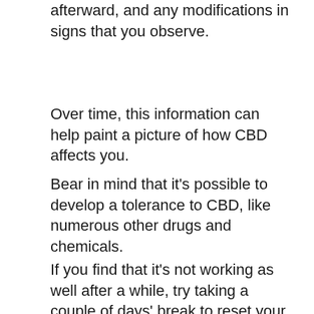dosing and at several time periods afterward, and any modifications in signs that you observe.
Over time, this information can help paint a picture of how CBD affects you.
Bear in mind that it's possible to develop a tolerance to CBD, like numerous other drugs and chemicals.
If you find that it's not working as well after a while, try taking a couple of days' break to reset your system prior to beginning with a low dosage once again.